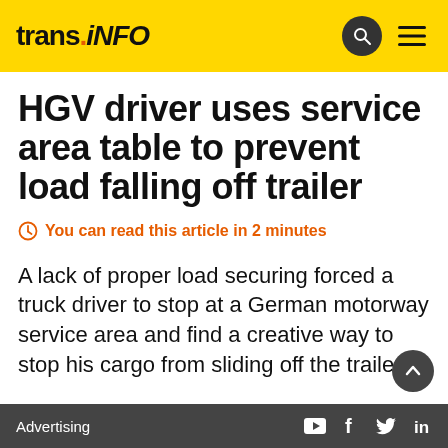trans.iNFO
HGV driver uses service area table to prevent load falling off trailer
You can read this article in 2 minutes
A lack of proper load securing forced a truck driver to stop at a German motorway service area and find a creative way to stop his cargo from sliding off the trailer.
Advertising